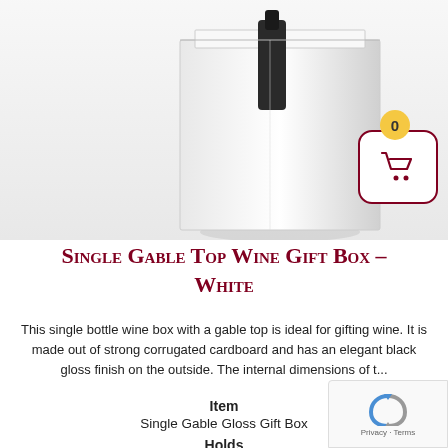[Figure (photo): White single gable top wine gift box photographed against a white/light grey background, showing the box upright with a dark bottle visible inside through the top opening. A shopping cart icon button with a '0' badge appears in the lower right of the photo.]
Single Gable Top Wine Gift Box – White
This single bottle wine box with a gable top is ideal for gifting wine. It is made out of strong corrugated cardboard and has an elegant black gloss finish on the outside. The internal dimensions of t...
Item
Single Gable Gloss Gift Box
Holds
1x Bottle